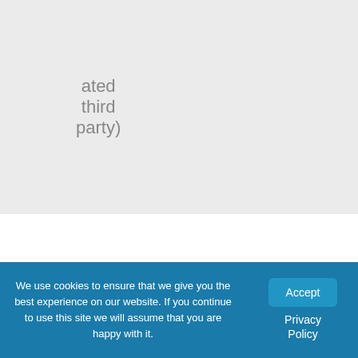|  |  |
| --- | --- |
| ated third party) |  |
| Doctorate | 25 |
| Master's or professional degree | 23 |
We use cookies to ensure that we give you the best experience on our website. If you continue to use this site we will assume that you are happy with it.